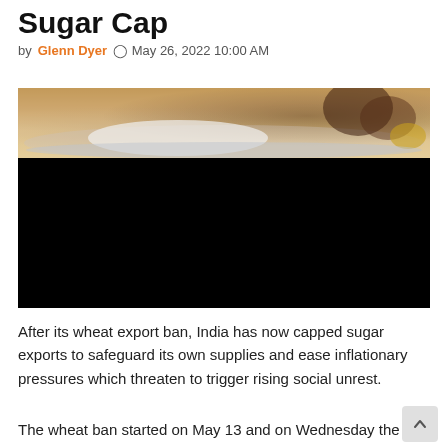Sugar Cap
by Glenn Dyer   May 26, 2022 10:00 AM
[Figure (photo): Photo showing Indian sweets/sugar on a silver tray with colorful items; lower portion is a black video player area]
After its wheat export ban, India has now capped sugar exports to safeguard its own supplies and ease inflationary pressures which threaten to trigger rising social unrest.
The wheat ban started on May 13 and on Wednesday the